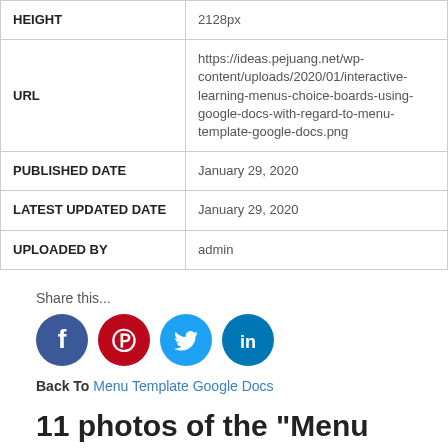| HEIGHT | 2128px |
| URL | https://ideas.pejuang.net/wp-content/uploads/2020/01/interactive-learning-menus-choice-boards-using-google-docs-with-regard-to-menu-template-google-docs.png |
| PUBLISHED DATE | January 29, 2020 |
| LATEST UPDATED DATE | January 29, 2020 |
| UPLOADED BY | admin |
Share this...
[Figure (infographic): Social share buttons: Facebook (blue circle with f), Pinterest (red circle with P), Twitter (light blue circle with bird), LinkedIn (dark blue circle with in)]
Back To Menu Template Google Docs
11 photos of the "Menu Template